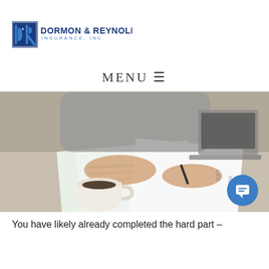[Figure (logo): Dormon & Reynolds Insurance, Inc. logo with D&R initials icon in blue and dark blue wordmark]
MENU ≡
[Figure (photo): Person reviewing insurance documents at a desk with a coffee cup and laptop in the background]
You have likely already completed the hard part –